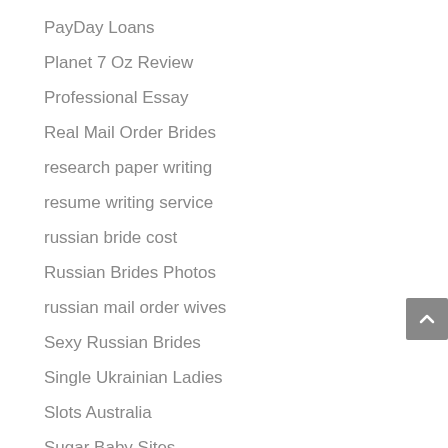PayDay Loans
Planet 7 Oz Review
Professional Essay
Real Mail Order Brides
research paper writing
resume writing service
russian bride cost
Russian Brides Photos
russian mail order wives
Sexy Russian Brides
Single Ukrainian Ladies
Slots Australia
Sugar Baby Sites